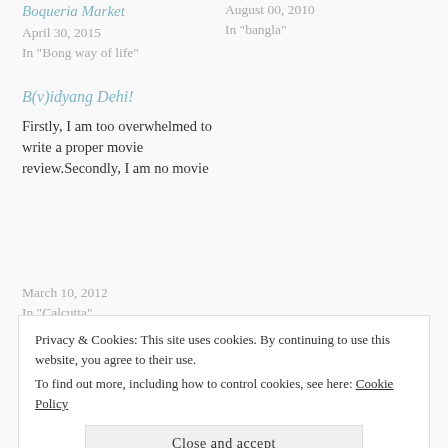Boqueria Market
April 30, 2015
In "Bong way of life"
August 00, 2010
In "bangla"
B(v)idyang Dehi!
Firstly, I am too overwhelmed to write a proper movie review.Secondly, I am no movie
March 10, 2012
In "Calcutta"
Privacy & Cookies: This site uses cookies. By continuing to use this website, you agree to their use.
To find out more, including how to control cookies, see here: Cookie Policy
Close and accept
Chronicles (5)